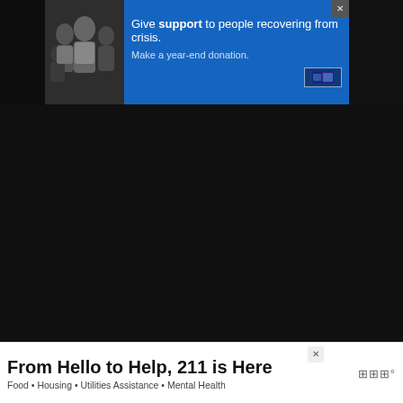[Figure (screenshot): Top banner advertisement for crisis support donation. Shows family photo on left, blue background with text 'Give support to people recovering from crisis. Make a year-end donation.' and a donate button. Close X button in top right.]
[Figure (screenshot): Dark grey content area taking up middle portion of screen, representing the main article/video embed area with a table-of-contents icon on the left side and Weatherbug icon on the right.]
As evil and hostile as the Falmer are towards intruders and surface-dwellers, the creatures surprisingly have a sad history. Back before the Nords settled the province of Skyrim, the area was inhabited by the Snow Elves. As the Nords spread across Skyrim, fighting between the tw
[Figure (screenshot): Bottom banner advertisement: 'From Hello to Help, 211 is Here' with subtext 'Food • Housing • Utilities Assistance • Mental Health'. White background. Close X button. Weatherbug icon on the right.]